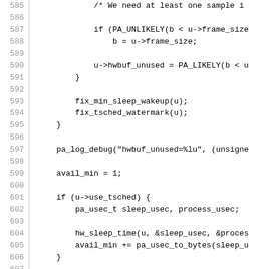Source code listing lines 585-614, C programming language code showing audio buffer handling logic including PA_UNLIKELY, PA_LIKELY macros, fix_min_sleep_wakeup, fix_tsched_watermark, pa_log_debug, avail_min, use_tsched block, hw_sleep_time, pa_usec_to_bytes, pa_alsa_set_sw_params calls.